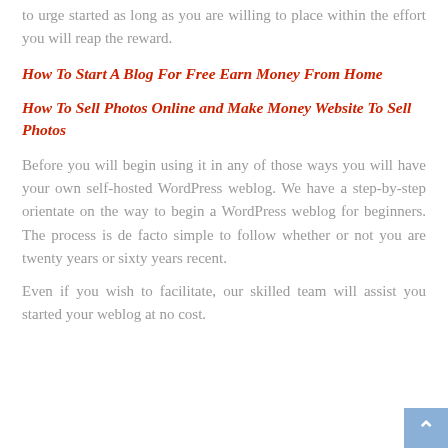to urge started as long as you are willing to place within the effort you will reap the reward.
How To Start A Blog For Free Earn Money From Home
How To Sell Photos Online and Make Money Website To Sell Photos
Before you will begin using it in any of those ways you will have your own self-hosted WordPress weblog. We have a step-by-step orientate on the way to begin a WordPress weblog for beginners. The process is de facto simple to follow whether or not you are twenty years or sixty years recent.
Even if you wish to facilitate, our skilled team will assist you started your weblog at no cost.